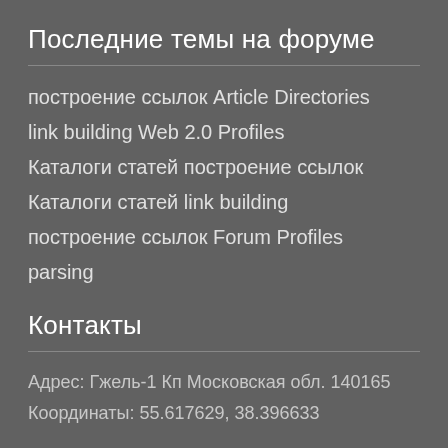Последние темы на форуме
построение ссылок Article Directories
link building Web 2.0 Profiles
Каталоги статей построение ссылок
Каталоги статей link building
построение ссылок Forum Profiles
parsing
Контакты
Адрес: Гжель-1 Кп Московская обл. 140165
Координаты: 55.617629, 38.396633